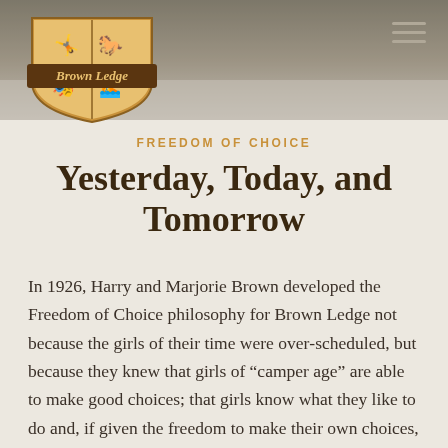[Figure (photo): Top banner photo showing a textured stone or rock surface background, gray-beige tones]
[Figure (logo): Brown Ledge camp shield logo with four quadrants showing camp activities (gymnastics, horse, drama mask, swimming), with 'Brown Ledge' in script on a brown banner across the shield]
FREEDOM OF CHOICE
Yesterday, Today, and Tomorrow
In 1926, Harry and Marjorie Brown developed the Freedom of Choice philosophy for Brown Ledge not because the girls of their time were over-scheduled, but because they knew that girls of “camper age” are able to make good choices; that girls know what they like to do and, if given the freedom to make their own choices, will choose well.